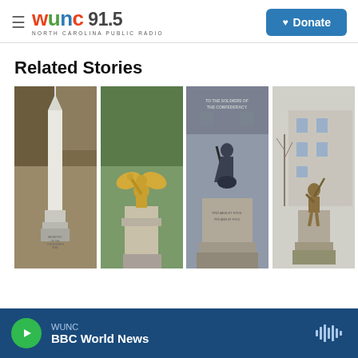WUNC 91.5 North Carolina Public Radio | Donate
Related Stories
[Figure (photo): Four images side by side: a white obelisk monument among trees, a golden angel statue on a pedestal, a Confederate soldier statue with inscription 'To The Soldiers of The Confederacy / Pro Aris Et Focis', and a bronze soldier statue on a pedestal in an urban setting.]
WUNC BBC World News